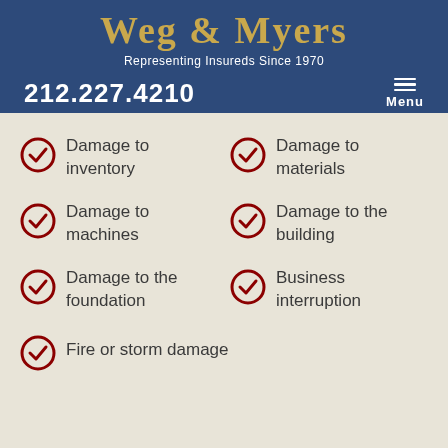WEG & MYERS — Representing Insureds Since 1970
212.227.4210
Damage to inventory
Damage to materials
Damage to machines
Damage to the building
Damage to the foundation
Business interruption
Fire or storm damage